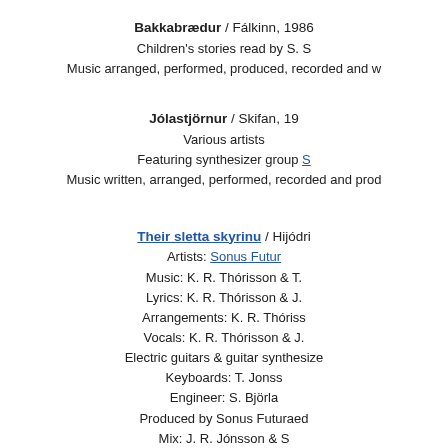Bakkabrædur / Fálkinn, 1986 Children's stories read by S. S. Music arranged, performed, produced, recorded and w
Jólastjörnur / Skifan, 19 Various artists Featuring synthesizer group S Music written, arranged, performed, recorded and prod
Their sletta skyrinu / Hijódri Artists: Sonus Futur Music: K. R. Thórisson & T. Lyrics: K. R. Thórisson & J. Arrangements: K. R. Thóriss Vocals: K. R. Thórisson & J. Electric guitars & guitar synthesize Keyboards: T. Jonss Engineer: S. Björi Produced by Sonus Futuraed Mix: J. R. Jónsson & S Mastering: Bernie Grun